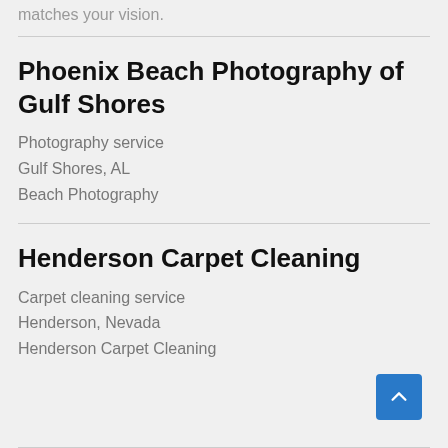matches your vision.
Phoenix Beach Photography of Gulf Shores
Photography service
Gulf Shores, AL
Beach Photography
Henderson Carpet Cleaning
Carpet cleaning service
Henderson, Nevada
Henderson Carpet Cleaning